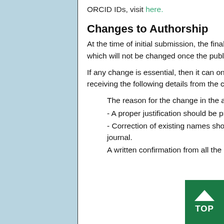ORCID IDs, visit here.
Changes to Authorship
At the time of initial submission, the finalized list of authors in correct sequence should be provided, which will not be changed once the publication process has started.
If any change is essential, then it can only be done after the approval of the Editor-in-Chief upon receiving the following details from the corresponding author:
The reason for the change in the author list and/or their sequence
- A proper justification should be provided for changes in authorship.
- Correction of existing names should be accompanied by a notice to the Editor-in-Chief of the journal.
A written confirmation from all the co-authors is a prerequisite for any